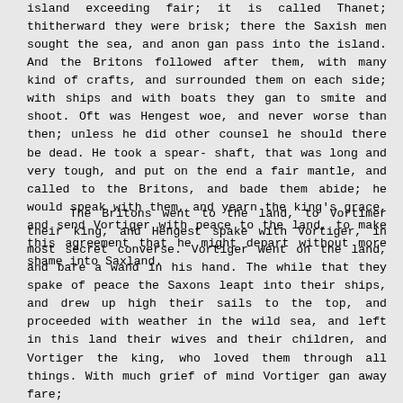island exceeding fair; it is called Thanet; thitherward they were brisk; there the Saxish men sought the sea, and anon gan pass into the island. And the Britons followed after them, with many kind of crafts, and surrounded them on each side; with ships and with boats they gan to smite and shoot. Oft was Hengest woe, and never worse than then; unless he did other counsel he should there be dead. He took a spear-shaft, that was long and very tough, and put on the end a fair mantle, and called to the Britons, and bade them abide; he would speak with them, and yearn the king's grace, and send Vortiger with peace to the land, to make this agreement that he might depart without more shame into Saxland.
The Britons went to the land, to Vortimer their king, and Hengest spake with Vortiger, in most secret converse. Vortiger went on the land, and bare a wand in his hand. The while that they spake of peace the Saxons leapt into their ships, and drew up high their sails to the top, and proceeded with weather in the wild sea, and left in this land their wives and their children, and Vortiger the king, who loved them through all things. With much grief of mind Vortiger gan away fare;